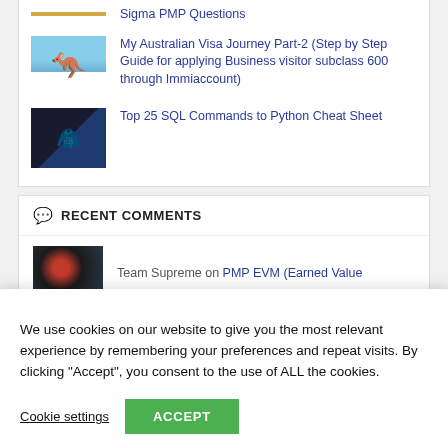Sigma PMP Questions
[Figure (photo): Thumbnail of a kangaroo in a snowy or icy landscape under blue sky]
My Australian Visa Journey Part-2 (Step by Step Guide for applying Business visitor subclass 600 through Immiaccount)
[Figure (photo): Thumbnail of black and blue hooded jackets/merchandise]
Top 25 SQL Commands to Python Cheat Sheet
RECENT COMMENTS
[Figure (photo): Thumbnail of a colorful circuit board or mechanical assembly]
Team Supreme on PMP EVM (Earned Value
We use cookies on our website to give you the most relevant experience by remembering your preferences and repeat visits. By clicking “Accept”, you consent to the use of ALL the cookies.